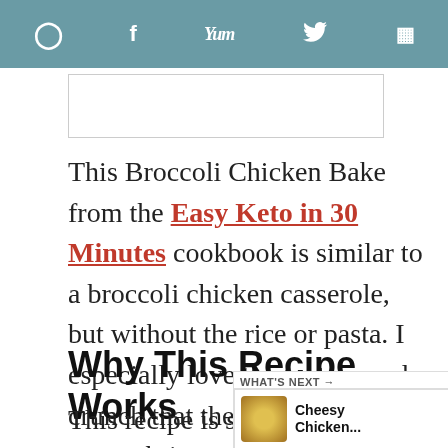Pinterest | Facebook | Yum | Twitter | Mix
[Figure (other): White rectangular image box with border]
This Broccoli Chicken Bake from the Easy Keto in 30 Minutes cookbook is similar to a broccoli chicken casserole, but without the rice or pasta. I especially love the texture and crunch that the sliced almonds on top bring to the dish. It’s so good!
Why This Recipe Works
This recipe is super easy to make and done and on your table in less than 30
[Figure (other): Heart like button with count 211 and share button]
[Figure (other): What's Next thumbnail - Cheesy Chicken...]